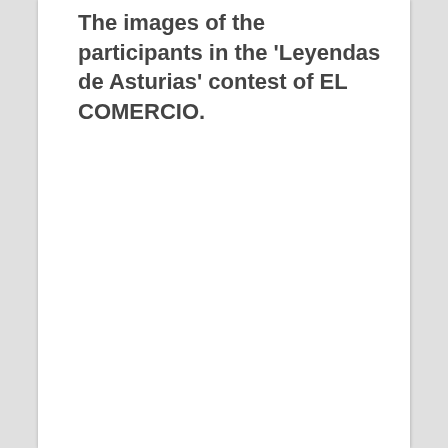The images of the participants in the 'Leyendas de Asturias' contest of EL COMERCIO.